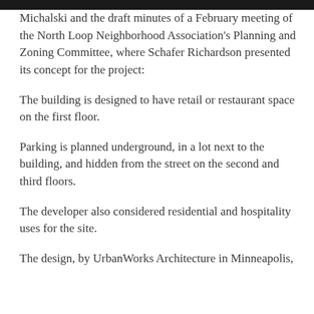Michalski and the draft minutes of a February meeting of the North Loop Neighborhood Association's Planning and Zoning Committee, where Schafer Richardson presented its concept for the project:
The building is designed to have retail or restaurant space on the first floor.
Parking is planned underground, in a lot next to the building, and hidden from the street on the second and third floors.
The developer also considered residential and hospitality uses for the site.
The design, by UrbanWorks Architecture in Minneapolis,